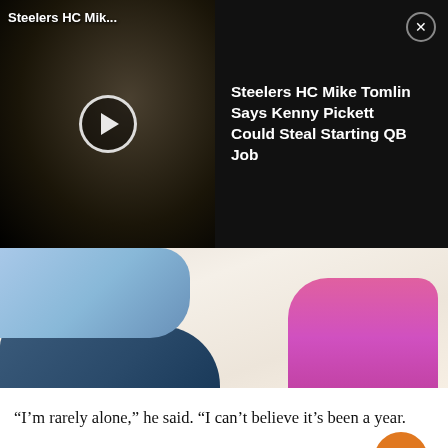[Figure (screenshot): Video player overlay showing a football scene thumbnail on the left with a play button, and on the right a black panel with the title 'Steelers HC Mike Tomlin Says Kenny Pickett Could Steal Starting QB Job' and a close button]
[Figure (photo): Photo of young children resting/lying on a white couch. One child wears a light blue shirt and jeans, another wears a colorful pink and multi-color outfit. A People magazine watermark is visible in the lower right. An orange scroll-up button overlays the lower right corner.]
“I’m rarely alone,” he said. “I can’t believe it’s been a year.